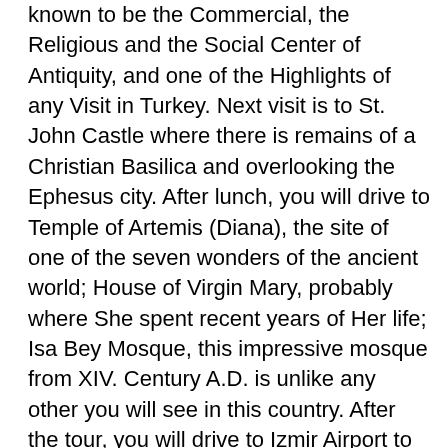known to be the Commercial, the Religious and the Social Center of Antiquity, and one of the Highlights of any Visit in Turkey. Next visit is to St. John Castle where there is remains of a Christian Basilica and overlooking the Ephesus city. After lunch, you will drive to Temple of Artemis (Diana), the site of one of the seven wonders of the ancient world; House of Virgin Mary, probably where She spent recent years of Her life; Isa Bey Mosque, this impressive mosque from XIV. Century A.D. is unlike any other you will see in this country. After the tour, you will drive to Izmir Airport to take 19:30 flight to Istanbul. Upon your arrival, you will be greeted by one of our colleagues and transferred to your hotel. Accommodation in Istanbul. . (breakfast at hotel, lunch on the tour)